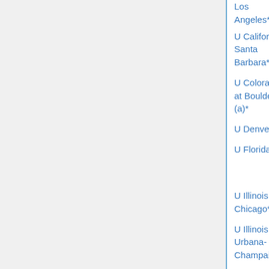| Institution | Area | Deadline |
| --- | --- | --- |
| Los Angeles* |  |  |
| U California, Santa Barbara* | education | Dec 1 |
| U Colorado at Boulder (a)* | applied | Oct 2 |
| U Denver* | various (p) | Jan 11 |
| U Florida | combin, probability (2) | Jan 1 |
| U Illinois, Chicago* | math/stat | Nov 16 |
| U Illinois, Urbana-Champaign* | all math (o) | Nov 13 |
| U Illinois, Urbana-Champaign* | all math (u) | Nov 13 |
| U Kansas | numer analysis | Nov 15 |